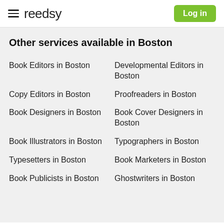reedsy | Log in
Other services available in Boston
Book Editors in Boston
Developmental Editors in Boston
Copy Editors in Boston
Proofreaders in Boston
Book Designers in Boston
Book Cover Designers in Boston
Book Illustrators in Boston
Typographers in Boston
Typesetters in Boston
Book Marketers in Boston
Book Publicists in Boston
Ghostwriters in Boston